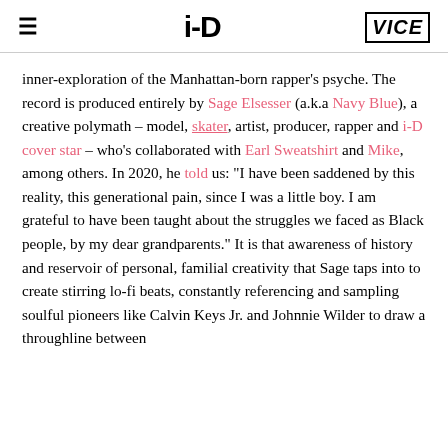i-D | VICE
inner-exploration of the Manhattan-born rapper's psyche. The record is produced entirely by Sage Elsesser (a.k.a Navy Blue), a creative polymath – model, skater, artist, producer, rapper and i-D cover star – who's collaborated with Earl Sweatshirt and Mike, among others. In 2020, he told us: "I have been saddened by this reality, this generational pain, since I was a little boy. I am grateful to have been taught about the struggles we faced as Black people, by my dear grandparents." It is that awareness of history and reservoir of personal, familial creativity that Sage taps into to create stirring lo-fi beats, constantly referencing and sampling soulful pioneers like Calvin Keys Jr. and Johnnie Wilder to draw a throughline between